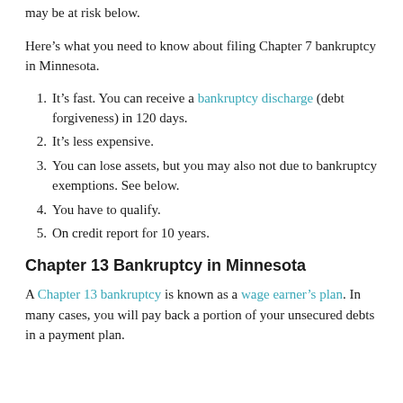may be at risk below.
Here’s what you need to know about filing Chapter 7 bankruptcy in Minnesota.
It’s fast. You can receive a bankruptcy discharge (debt forgiveness) in 120 days.
It’s less expensive.
You can lose assets, but you may also not due to bankruptcy exemptions. See below.
You have to qualify.
On credit report for 10 years.
Chapter 13 Bankruptcy in Minnesota
A Chapter 13 bankruptcy is known as a wage earner’s plan. In many cases, you will pay back a portion of your unsecured debts in a payment plan.